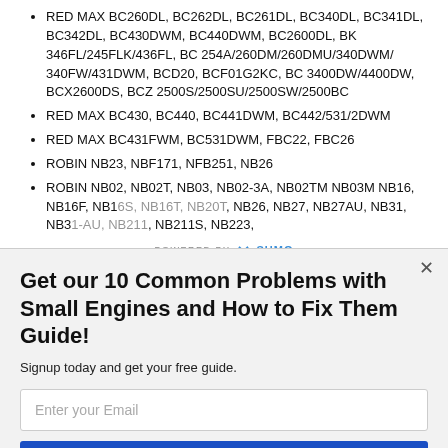RED MAX BC260DL, BC262DL, BC261DL, BC340DL, BC341DL, BC342DL, BC430DWM, BC440DWM, BC2600DL, BK 346FL/245FLK/436FL, BC 254A/260DM/260DMU/340DWM/ 340FW/431DWM, BCD20, BCF01G2KC, BC 3400DW/4400DW, BCX2600DS, BCZ 2500S/2500SU/2500SW/2500BC
RED MAX BC430, BC440, BC441DWM, BC442/531/2DWM
RED MAX BC431FWM, BC531DWM, FBC22, FBC26
ROBIN NB23, NBF171, NFB251, NB26
ROBIN NB02, NB02T, NB03, NB02-3A, NB02TM NB03M NB16, NB16F, NB16S, NB16T, NB20T, NB26, NB27, NB27AU, NB31, NB31-AU, NB211, NB211S, NB223,
Get our 10 Common Problems with Small Engines and How to Fix Them Guide!
Signup today and get your free guide.